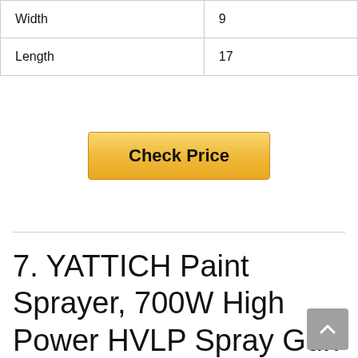| Width | 9 |
| Length | 17 |
Check Price
7. YATTICH Paint Sprayer, 700W High Power HVLP Spray Gun with 5 Copper Nozzles & 3 Patterns, Easy to Spray and Clean, for Furniture, Cabinets,